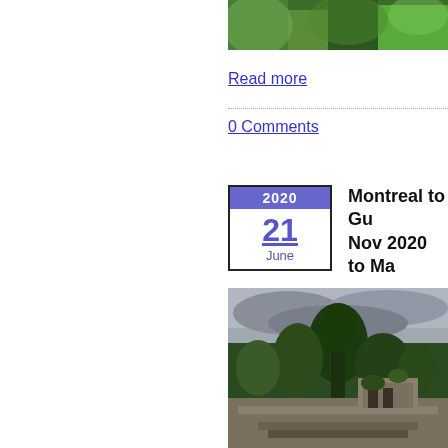[Figure (photo): Aerial/landscape photo of lush green jungle or terraced landscape, cropped at top]
Read more
0 Comments
2020 21 June
Montreal to Gua… Nov 2020 to Ma…
[Figure (photo): Ancient Mayan ruins surrounded by jungle with dramatic cloudy sky]